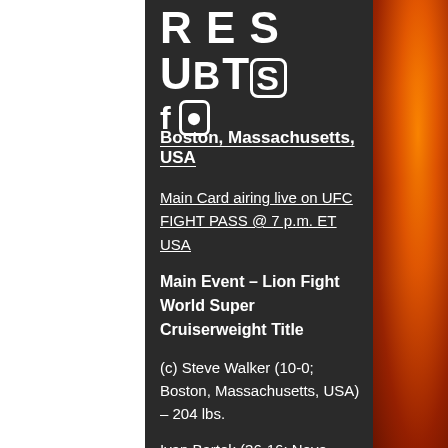RESULTS
Boston, Massachusetts, USA
Main Card airing live on UFC FIGHT PASS @ 7 p.m. ET USA
Main Event – Lion Fight World Super Cruiserweight Title
(c) Steve Walker (10-0; Boston, Massachusetts, USA) – 204 lbs.
Ivan Bartek (36-16; Nove Mesto nad Vahom, Slovakia) – 204 lbs.